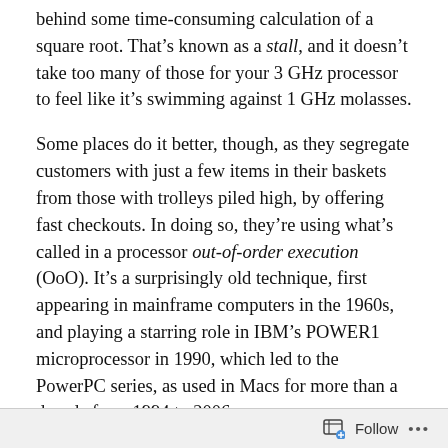behind some time-consuming calculation of a square root. That's known as a stall, and it doesn't take too many of those for your 3 GHz processor to feel like it's swimming against 1 GHz molasses.
Some places do it better, though, as they segregate customers with just a few items in their baskets from those with trolleys piled high, by offering fast checkouts. In doing so, they're using what's called in a processor out-of-order execution (OoO). It's a surprisingly old technique, first appearing in mainframe computers in the 1960s, and playing a starring role in IBM's POWER1 microprocessor in 1990, which led to the PowerPC series, as used in Macs for more than a decade from 1994 to 2006.
Thanks to ingenious experiments by Maynard Handley and Dougall Johnson, building on earlier
Follow ...